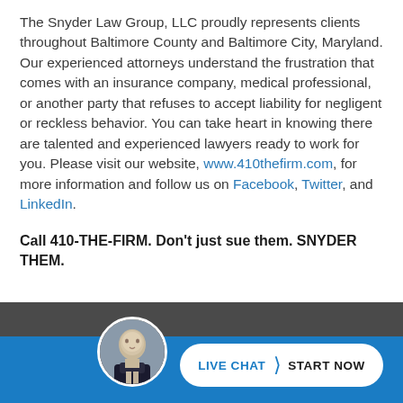The Snyder Law Group, LLC proudly represents clients throughout Baltimore County and Baltimore City, Maryland. Our experienced attorneys understand the frustration that comes with an insurance company, medical professional, or another party that refuses to accept liability for negligent or reckless behavior. You can take heart in knowing there are talented and experienced lawyers ready to work for you. Please visit our website, www.410thefirm.com, for more information and follow us on Facebook, Twitter, and LinkedIn.
Call 410-THE-FIRM. Don't just sue them. SNYDER THEM.
[Figure (photo): Circular avatar photo of a man in a suit, displayed in the footer bar above a Live Chat button]